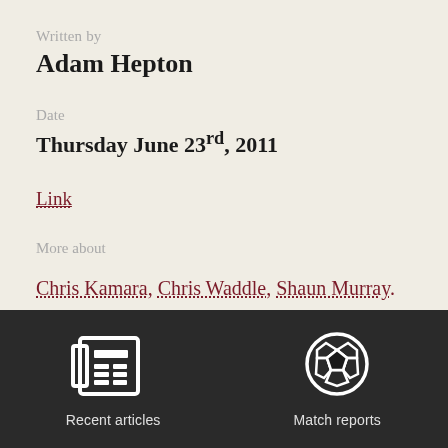Written by
Adam Hepton
Date
Thursday June 23rd, 2011
Link
More about
Chris Kamara, Chris Waddle, Shaun Murray.
[Figure (illustration): Footer with two icons: a newspaper icon labeled 'Recent articles' and a soccer ball icon labeled 'Match reports', on a dark background.]